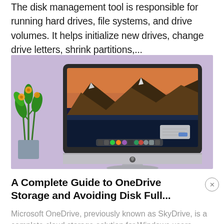The disk management tool is responsible for running hard drives, file systems, and drive volumes. It helps initialize new drives, change drive letters, shrink partitions,...
[Figure (photo): An iMac computer with a macOS Big Sur mountain landscape wallpaper on its display, sitting next to a potted orange flower/plant, against a light purple background.]
A Complete Guide to OneDrive Storage and Avoiding Disk Full...
Microsoft OneDrive, previously known as SkyDrive, is a complete cloud storage solution for Windows users.